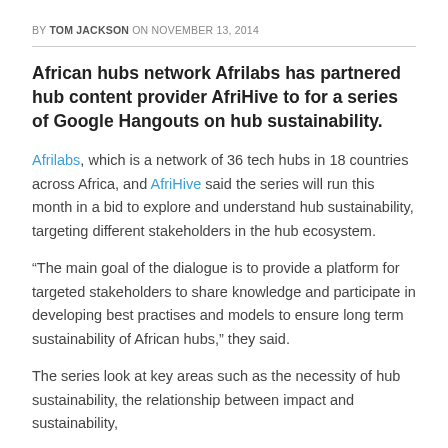BY TOM JACKSON ON NOVEMBER 13, 2014
African hubs network Afrilabs has partnered hub content provider AfriHive to for a series of Google Hangouts on hub sustainability.
Afrilabs, which is a network of 36 tech hubs in 18 countries across Africa, and AfriHive said the series will run this month in a bid to explore and understand hub sustainability, targeting different stakeholders in the hub ecosystem.
“The main goal of the dialogue is to provide a platform for targeted stakeholders to share knowledge and participate in developing best practises and models to ensure long term sustainability of African hubs,” they said.
The series look at key areas such as the necessity of hub sustainability, the relationship between impact and sustainability,